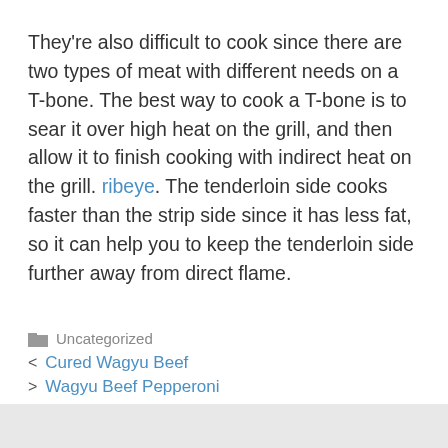They're also difficult to cook since there are two types of meat with different needs on a T-bone. The best way to cook a T-bone is to sear it over high heat on the grill, and then allow it to finish cooking with indirect heat on the grill. ribeye. The tenderloin side cooks faster than the strip side since it has less fat, so it can help you to keep the tenderloin side further away from direct flame.
Uncategorized
< Cured Wagyu Beef
> Wagyu Beef Pepperoni